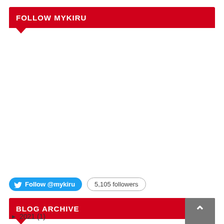FOLLOW MYKIRU
Follow @mykiru   5,105 followers
BLOG ARCHIVE
► 2021 (1)